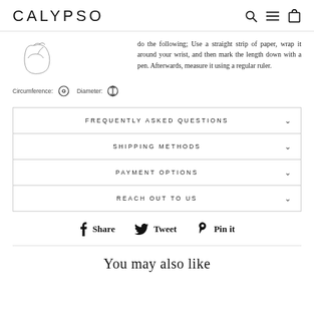CALYPSO
[Figure (illustration): Wrist illustration with circumference and diameter measurement icons]
do the following; Use a straight strip of paper, wrap it around your wrist, and then mark the length down with a pen. Afterwards, measure it using a regular ruler.
| FREQUENTLY ASKED QUESTIONS |
| SHIPPING METHODS |
| PAYMENT OPTIONS |
| REACH OUT TO US |
Share  Tweet  Pin it
You may also like